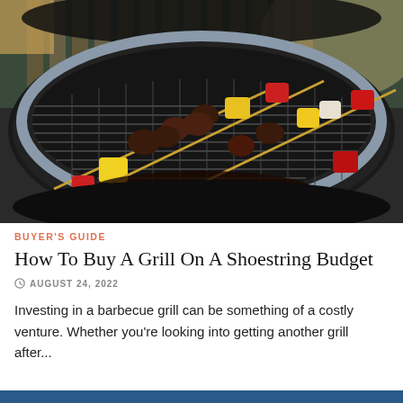[Figure (photo): Close-up overhead photo of a round black charcoal grill with kebab skewers on the grate, featuring colorful vegetables (red and yellow bell peppers, onions) and meat chunks, shot outdoors with a wooden fence in background.]
BUYER'S GUIDE
How To Buy A Grill On A Shoestring Budget
AUGUST 24, 2022
Investing in a barbecue grill can be something of a costly venture. Whether you're looking into getting another grill after...
[Figure (photo): Partial view of another article image visible at bottom of page (blue/teal toned).]